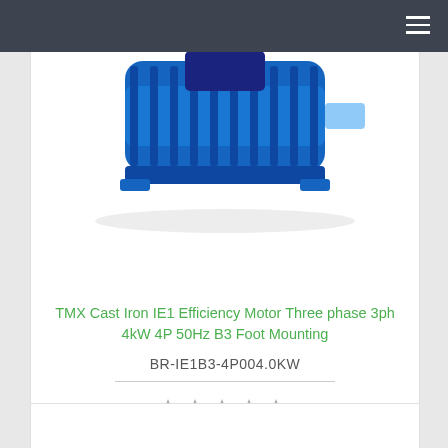Navigation bar with hamburger menu
[Figure (photo): Blue cast iron electric motor product photo, partially cropped at top]
TMX Cast Iron IE1 Efficiency Motor Three phase 3ph 4kW 4P 50Hz B3 Foot Mounting
BR-IE1B3-4P004.0KW
[Figure (other): Five empty star rating icons]
4.760.000,00 đ
[Figure (other): Shopping cart icon button (circular)]
[Figure (other): Heart/wishlist icon button (circular)]